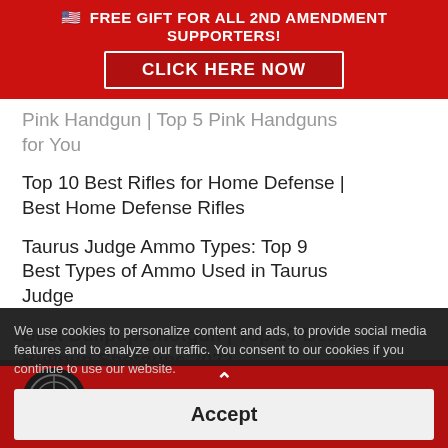🇺🇸 FREE GIFT FOR ALL 2ND AMENDMENT SUPPORTERS! CLICK HERE NOW
Pink Handgun | Top 5 Pink Handguns for You
Top 10 Best Rifles for Home Defense | Best Home Defense Rifles
Taurus Judge Ammo Types: Top 9 Best Types of Ammo Used in Taurus Judge
Best Bullpup Shotgun | Top 10 Best Bullpup Shotguns 2022
We use cookies to personalize content and ads, to provide social media features and to analyze our traffic. You consent to our cookies if you continue to use our website.
Accept